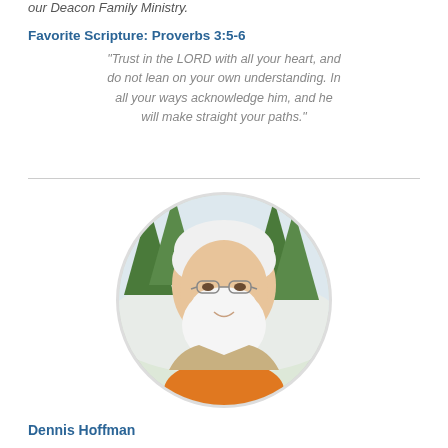our Deacon Family Ministry.
Favorite Scripture: Proverbs 3:5-6
"Trust in the LORD with all your heart, and do not lean on your own understanding. In all your ways acknowledge him, and he will make straight your paths."
[Figure (photo): Circular portrait photo of an elderly man with white hair and a large white beard, wearing glasses, a beige blazer, and an orange shirt. Background shows a painted landscape with trees.]
Dennis Hoffman